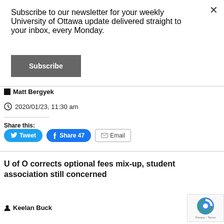Subscribe to our newsletter for your weekly University of Ottawa update delivered straight to your inbox, every Monday.
Subscribe
Matt Bergyek
2020/01/23, 11:30 am
Share this:
Tweet
Share 47
Email
U of O corrects optional fees mix-up, student association still concerned
Keelan Buck